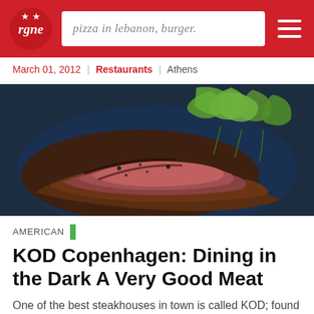pizza in lebanon, burger.
March 01, 2012 | Restaurants | Athens
[Figure (photo): Close-up photograph of sliced cooked steak served on a dark blue plate, garnished with fresh green leaves/herbs on top.]
AMERICAN
KOD Copenhagen: Dining in the Dark A Very Good Meat
One of the best steakhouses in town is called KOD; found on google maps and trip advisor, I was excited to have a decent piece of meat with some good fries! I've had enough of complicated...